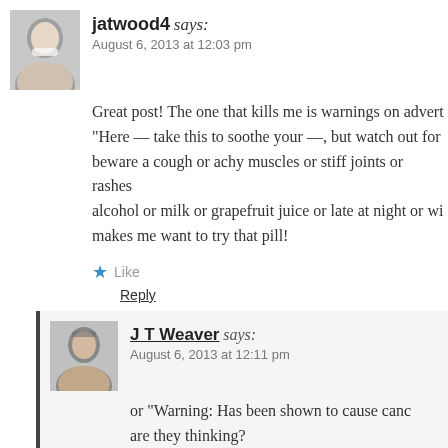jatwood4 says: August 6, 2013 at 12:03 pm
Great post! The one that kills me is warnings on advert "Here — take this to soothe your —, but watch out for beware a cough or achy muscles or stiff joints or rashes alcohol or milk or grapefruit juice or late at night or wi makes me want to try that pill!
Like
Reply
J T Weaver says: August 6, 2013 at 12:11 pm
or "Warning: Has been shown to cause canc are they thinking?